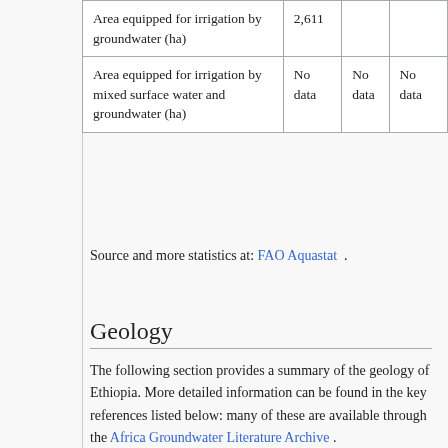|  |  |  |  |
| --- | --- | --- | --- |
| Area equipped for irrigation by groundwater (ha) | 2,611 |  |  |
| Area equipped for irrigation by mixed surface water and groundwater (ha) | No data | No data | No data |
Source and more statistics at: FAO Aquastat .
Geology
The following section provides a summary of the geology of Ethiopia. More detailed information can be found in the key references listed below: many of these are available through the Africa Groundwater Literature Archive .
The geology map on this page shows a